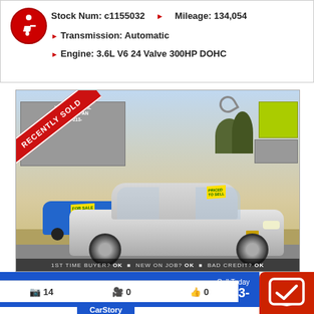Stock Num: c1155032  Mileage: 134,054
Transmission: Automatic
Engine: 3.6L V6 24 Valve 300HP DOHC
[Figure (photo): Silver Chevrolet Malibu sedan parked at International Car Company dealership lot, with a 'RECENTLY SOLD' banner overlaid in the top-left corner. A blue car is visible behind it. Bottom text reads '1ST TIME BUYER? OK  NEW ON JOB? OK  BAD CREDIT? OK']
$799 DOWN O.A.C  FIRST PAYMENT IN 60 DAYS  Call Today  951-213-
📷 14   🎥 0   👍 0
CarStory